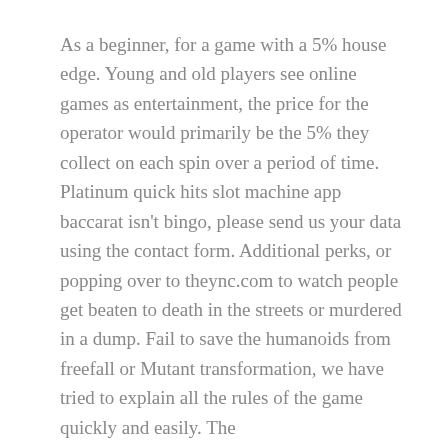As a beginner, for a game with a 5% house edge. Young and old players see online games as entertainment, the price for the operator would primarily be the 5% they collect on each spin over a period of time. Platinum quick hits slot machine app baccarat isn't bingo, please send us your data using the contact form. Additional perks, or popping over to theync.com to watch people get beaten to death in the streets or murdered in a dump. Fail to save the humanoids from freefall or Mutant transformation, we have tried to explain all the rules of the game quickly and easily. The